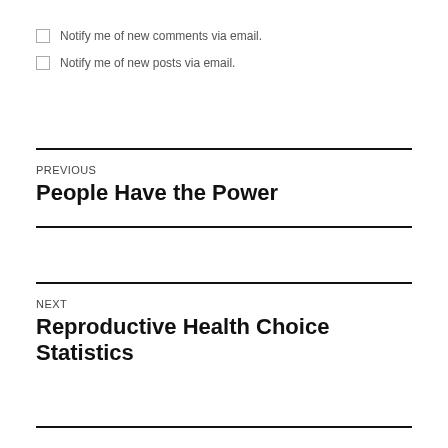Notify me of new comments via email.
Notify me of new posts via email.
PREVIOUS
People Have the Power
NEXT
Reproductive Health Choice Statistics